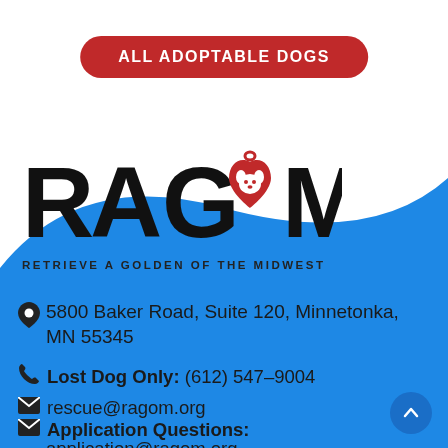[Figure (illustration): Red rounded rectangle button with white bold uppercase text 'ALL ADOPTABLE DOGS']
[Figure (logo): RAGOM logo — large bold black letters R-A-G-O-M with the O replaced by a red heart containing a white dog face silhouette and a small ring at top. Below: 'RETRIEVE A GOLDEN OF THE MIDWEST' in spaced uppercase.]
5800 Baker Road, Suite 120, Minnetonka, MN 55345
Lost Dog Only: (612) 547-9004
rescue@ragom.org
Application Questions: application@ragom.org